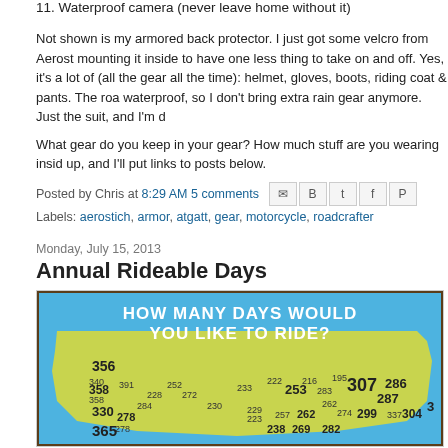11. Waterproof camera (never leave home without it)
Not shown is my armored back protector. I just got some velcro from Aerost mounting it inside to have one less thing to take on and off. Yes, it's a lot of (all the gear all the time): helmet, gloves, boots, riding coat & pants. The roa waterproof, so I don't bring extra rain gear anymore. Just the suit, and I'm d
What gear do you keep in your gear? How much stuff are you wearing insid up, and I'll put links to posts below.
Posted by Chris at 8:29 AM 5 comments
Labels: aerostich, armor, atgatt, gear, motorcycle, roadcrafter
Monday, July 15, 2013
Annual Rideable Days
[Figure (map): Map of the USA showing 'HOW MANY DAYS WOULD YOU LIKE TO RIDE?' with rideable days numbers overlaid on different regions. Numbers visible include 356, 358, 278, 330, 365, 307, 253, 287, 304, 299, 286, 282, 238, 269, 262, 283 and others.]